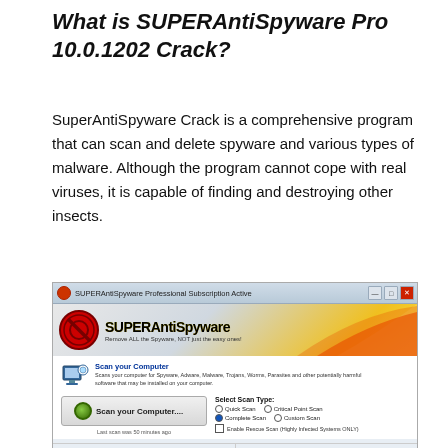What is SUPERAntiSpyware Pro 10.0.1202 Crack?
SuperAntiSpyware Crack is a comprehensive program that can scan and delete spyware and various types of malware. Although the program cannot cope with real viruses, it is capable of finding and destroying other insects.
[Figure (screenshot): Screenshot of SUPERAntiSpyware Professional application window showing the Scan your Computer interface with scan options including Quick Scan, Complete Scan, Critical Point Scan, Custom Scan, and Enable Rescue Scan options. Bottom bar shows SUPERAntiSpyware Professional Subscription Active and Program Version 5.6.1032.]